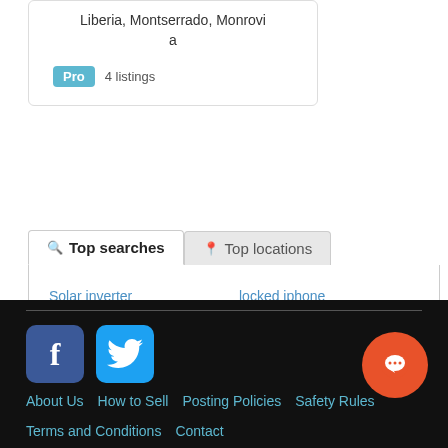Liberia, Montserrado, Monrovia
Pro   4 listings
Top searches
Top locations
Solar inverter
PlayStation 3
Safari bike in Liberia
Tecno Camon 12
Omomakay
Iam looking for three ...
locked iphone
icloud locked iphone
Zinc dondle price
Customized
32 gauge thick price
1 bed room apartment...
About Us   How to Sell   Posting Policies   Safety Rules   Terms and Conditions   Contact